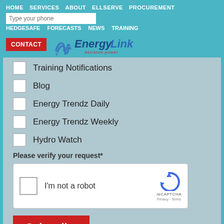HOME  SERVICES  ABOUT  ELLSERVE  PROCUREMENT
HEDGESAFE  FORECASTS  NEWS  TRAINING
CONTACT  Energy Link  decision power
Training Notifications
Blog
Energy Trendz Daily
Energy Trendz Weekly
Hydro Watch
Please verify your request*
[Figure (screenshot): reCAPTCHA widget with checkbox labeled I'm not a robot and reCAPTCHA Privacy Terms logo]
Subscribe